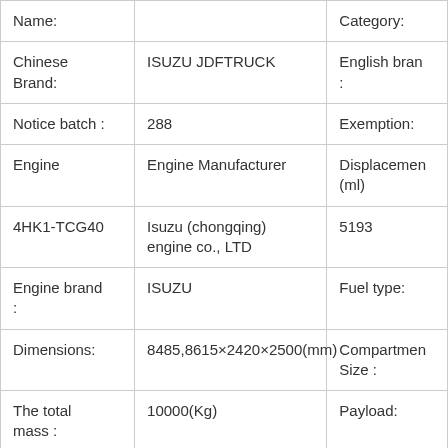| Name: |  | Category: |
| --- | --- | --- |
| Chinese Brand: | ISUZU JDFTRUCK | English bran
: |
| Notice batch : | 288 | Exemption: |
| Engine | Engine Manufacturer | Displacement (ml) |
| 4HK1-TCG40 | Isuzu (chongqing) engine co., LTD | 5193 |
| Engine brand : | ISUZU | Fuel type: |
| Dimensions: | 8485,8615×2420×2500(mm) | Compartment Size : |
| The total mass : | 10000(Kg) | Payload: |
| Curb weight: | 5675,6205(Kg) | Rated |